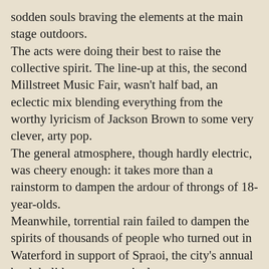sodden souls braving the elements at the main stage outdoors.
The acts were doing their best to raise the collective spirit. The line-up at this, the second Millstreet Music Fair, wasn’t half bad, an eclectic mix blending everything from the worthy lyricism of Jackson Brown to some very clever, arty pop.
The general atmosphere, though hardly electric, was cheery enough: it takes more than a rainstorm to dampen the ardour of throngs of 18-year-olds.
Meanwhile, torrential rain failed to dampen the spirits of thousands of people who turned out in Waterford in support of Spraoi, the city’s annual bank holiday street carnival.
The organisers decided yesterday morning to relocate all outdoor gigs to indoor venues after heavy rainfall threatened to ruin the festivities.